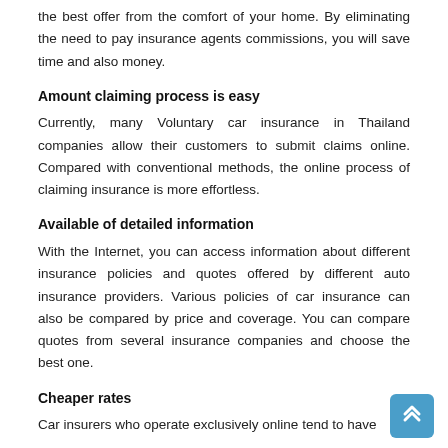the best offer from the comfort of your home. By eliminating the need to pay insurance agents commissions, you will save time and also money.
Amount claiming process is easy
Currently, many Voluntary car insurance in Thailand companies allow their customers to submit claims online. Compared with conventional methods, the online process of claiming insurance is more effortless.
Available of detailed information
With the Internet, you can access information about different insurance policies and quotes offered by different auto insurance providers. Various policies of car insurance can also be compared by price and coverage. You can compare quotes from several insurance companies and choose the best one.
Cheaper rates
Car insurers who operate exclusively online tend to have